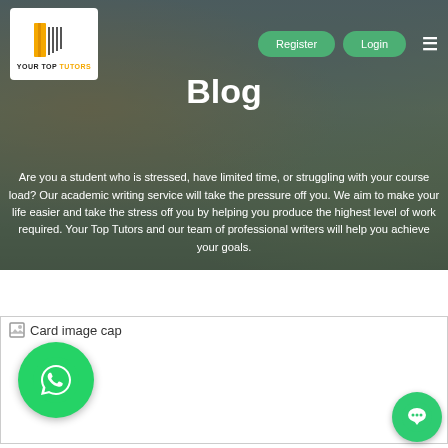[Figure (screenshot): Hero banner with blurred photo of students studying at a table, with navigation bar, logo, Register and Login buttons, Blog title, and descriptive text overlay]
Blog
Are you a student who is stressed, have limited time, or struggling with your course load? Our academic writing service will take the pressure off you. We aim to make your life easier and take the stress off you by helping you produce the highest level of work required. Your Top Tutors and our team of professional writers will help you achieve your goals.
[Figure (screenshot): Card with broken image placeholder labeled 'Card image cap']
[Figure (logo): WhatsApp green circle button in lower left]
[Figure (logo): Green chat/messenger circle button in lower right]